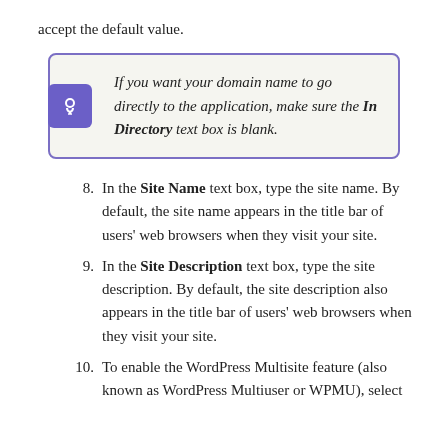accept the default value.
If you want your domain name to go directly to the application, make sure the In Directory text box is blank.
8. In the Site Name text box, type the site name. By default, the site name appears in the title bar of users' web browsers when they visit your site.
9. In the Site Description text box, type the site description. By default, the site description also appears in the title bar of users' web browsers when they visit your site.
10. To enable the WordPress Multisite feature (also known as WordPress Multiuser or WPMU), select